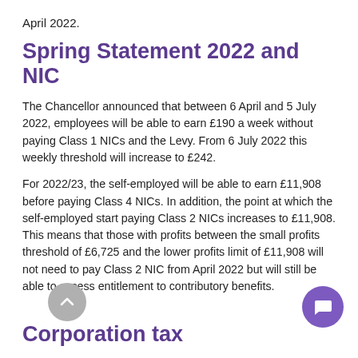April 2022.
Spring Statement 2022 and NIC
The Chancellor announced that between 6 April and 5 July 2022, employees will be able to earn £190 a week without paying Class 1 NICs and the Levy. From 6 July 2022 this weekly threshold will increase to £242.
For 2022/23, the self-employed will be able to earn £11,908 before paying Class 4 NICs. In addition, the point at which the self-employed start paying Class 2 NICs increases to £11,908. This means that those with profits between the small profits threshold of £6,725 and the lower profits limit of £11,908 will not need to pay Class 2 NIC from April 2022 but will still be able to access entitlement to contributory benefits.
Corporation tax